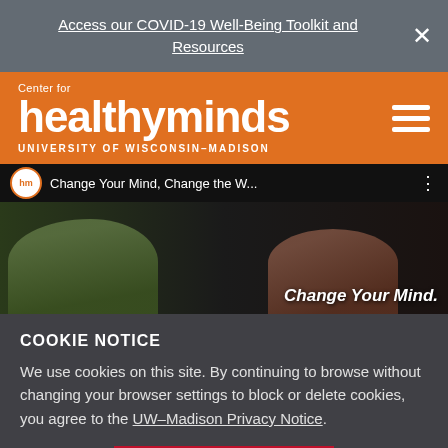Access our COVID-19 Well-Being Toolkit and Resources
[Figure (logo): Center for Healthy Minds, University of Wisconsin-Madison logo on orange header background with hamburger menu icon]
[Figure (screenshot): YouTube video strip showing 'Change Your Mind, Change the W...' with hm circle logo]
[Figure (photo): Two people on stage in dark setting with text 'Change Your Mind.' overlaid]
COOKIE NOTICE
We use cookies on this site. By continuing to browse without changing your browser settings to block or delete cookies, you agree to the UW-Madison Privacy Notice.
GOT IT!